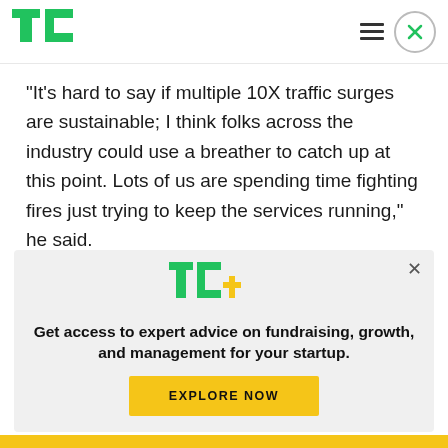[Figure (logo): TechCrunch TC logo in green, top-left header]
“It’s hard to say if multiple 10X traffic surges are sustainable; I think folks across the industry could use a breather to catch up at this point. Lots of us are spending time fighting fires just trying to keep the services running,” he said.
“Rising prices have two effects on exchanges: lack
[Figure (logo): TC+ logo in green with plus sign in yellow/green]
Get access to expert advice on fundraising, growth, and management for your startup.
EXPLORE NOW